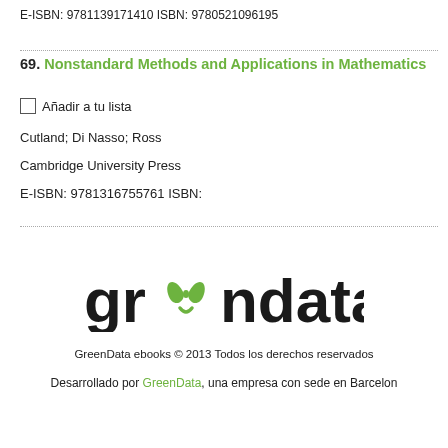E-ISBN: 9781139171410 ISBN: 9780521096195
69. Nonstandard Methods and Applications in Mathematics
Añadir a tu lista
Cutland; Di Nasso; Ross
Cambridge University Press
E-ISBN: 9781316755761 ISBN:
[Figure (logo): GreenData logo with green leaf/recycling symbol replacing the two e's in 'greendata', text in dark charcoal color]
GreenData ebooks © 2013 Todos los derechos reservados
Desarrollado por GreenData, una empresa con sede en Barcelona